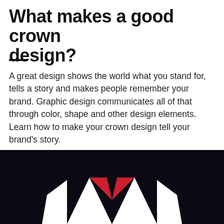What makes a good crown design?
A great design shows the world what you stand for, tells a story and makes people remember your brand. Graphic design communicates all of that through color, shape and other design elements. Learn how to make your crown design tell your brand’s story.
[Figure (illustration): Dark navy/black background with a geometric crown logo design — white angular crown shape with red accent triangles in the center, partially visible at the bottom of the image.]